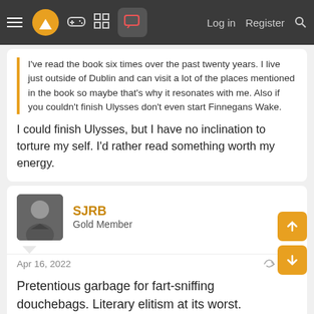Navigation bar with menu, logo, games, grid, forum icons, Log in, Register, Search
I've read the book six times over the past twenty years. I live just outside of Dublin and can visit a lot of the places mentioned in the book so maybe that's why it resonates with me. Also if you couldn't finish Ulysses don't even start Finnegans Wake.
I could finish Ulysses, but I have no inclination to torture my self. I'd rather read something worth my energy.
SJRB
Gold Member
Apr 16, 2022
#10
Pretentious garbage for fart-sniffing douchebags. Literary elitism at its worst.
Dural, Roxkis_ii, The Wheel of Fortune and 6 others